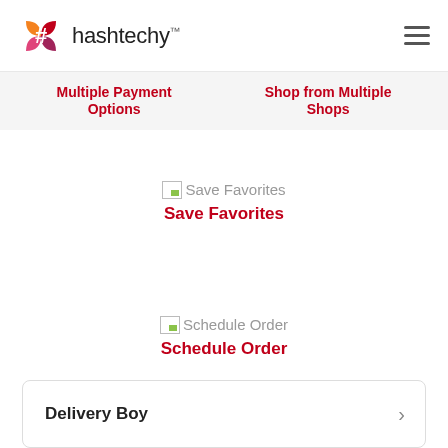[Figure (logo): Hashtechy logo with colorful hash icon and wordmark 'hashtechy™']
Multiple Payment Options
Shop from Multiple Shops
Save Favorites
Save Favorites
Schedule Order
Schedule Order
Delivery Boy